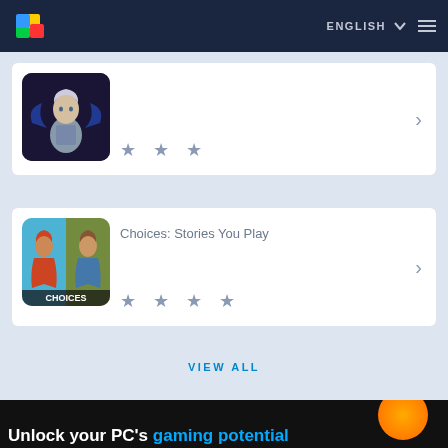[Figure (screenshot): BlueStacks logo in top navigation bar]
ENGLISH
[Figure (illustration): Fantasy game character (armored elf/warrior with blue wings) app icon]
★ ★ ★
[Figure (illustration): Choices: Stories You Play app icon showing two characters]
Choices: Stories You Play
★ ★ ★ ★
VIEW ALL
Unlock your PC's gaming potential